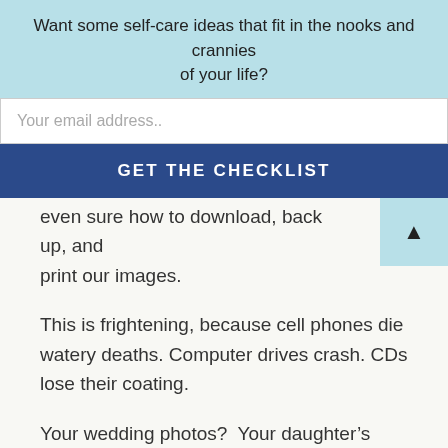Want some self-care ideas that fit in the nooks and crannies of your life?
Your email address..
GET THE CHECKLIST
even sure how to download, back up, and print our images.
This is frightening, because cell phones die watery deaths. Computer drives crash. CDs lose their coating.
Your wedding photos?  Your daughter's high school graduation?
They're only files.